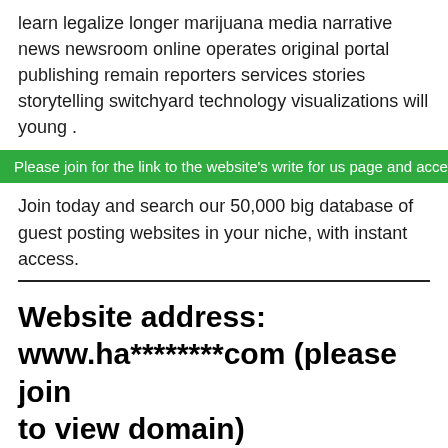learn legalize longer marijuana media narrative news newsroom online operates original portal publishing remain reporters services stories storytelling switchyard technology visualizations will young .
Please join for the link to the website's write for us page and access to
Join today and search our 50,000 big database of guest posting websites in your niche, with instant access.
Website address: www.ha********com (please join to view domain)
Website title
Halsey News is the answer to the raging inaccuracies and biased main stream media coverage. Our writers are